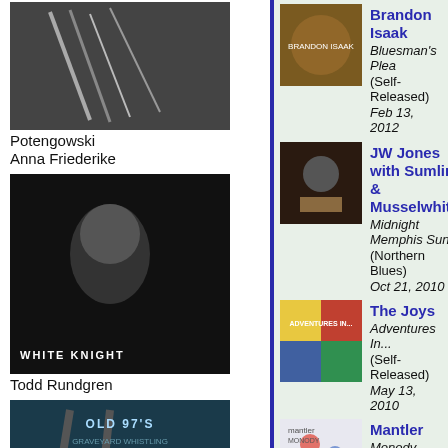[Figure (photo): Album art for Potengowski Anna Friederike]
Potengowski
Anna Friederike
[Figure (photo): Album art for Todd Rundgren - White Knight]
Todd Rundgren
[Figure (photo): Album art for Old 97's]
Old 97's
[Figure (photo): Album art for Needles//Pins]
Needles//Pi...
[Figure (photo): Album art for Brandon Isaak - Bluesman's Plea]
Brandon Isaak
Bluesman's Plea
(Self-Released)
Feb 13, 2012
[Figure (photo): Album art for JW Jones with Sumlin & Musselwhite - Midnight Memphis Sun]
JW Jones with Sumlin & Musselwhite
Midnight Memphis Sun
(Northern Blues)
Oct 21, 2010
[Figure (photo): Album art for The Joys - Adventures In...]
The Joys
Adventures In...
(Self-Released)
May 13, 2010
[Figure (photo): Album art for Mantler - Monody]
Mantler
Monody
(Blocks Recording Club)
Aug 30, 2010
[Figure (photo): Album art for David Myles - Turn Time Off]
David Myles
Turn Time Off
(Self-Released)
Aug 30, 2010
David Myles